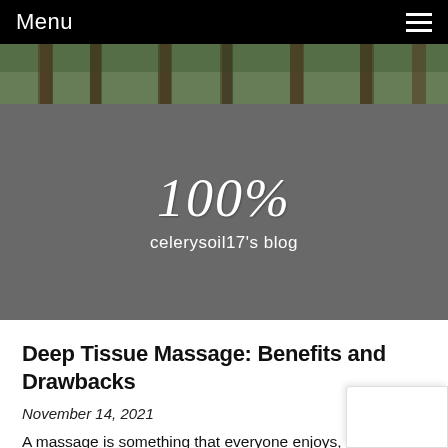Menu
[Figure (photo): Forest trees photo strip]
100%
celerysoil17's blog
Deep Tissue Massage: Benefits and Drawbacks
November 14, 2021
A massage is something that everyone enjoys, regardless of how much money one has. But, if you're like many of us currently, you may be unsure of what you should be looking for when you go for an effective massage. It is essential to recognize that